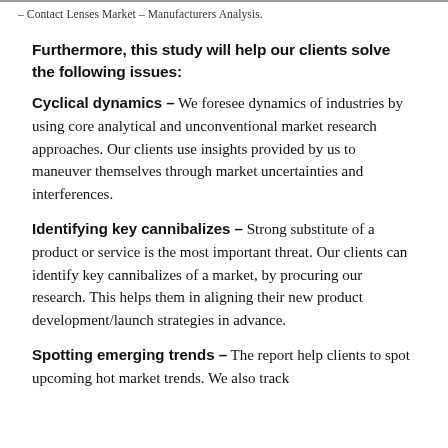Contact Lenses Market – Manufacturers Analysis.
Furthermore, this study will help our clients solve the following issues:
Cyclical dynamics – We foresee dynamics of industries by using core analytical and unconventional market research approaches. Our clients use insights provided by us to maneuver themselves through market uncertainties and interferences.
Identifying key cannibalizes – Strong substitute of a product or service is the most important threat. Our clients can identify key cannibalizes of a market, by procuring our research. This helps them in aligning their new product development/launch strategies in advance.
Spotting emerging trends – The report help clients to spot upcoming hot market trends. We also track